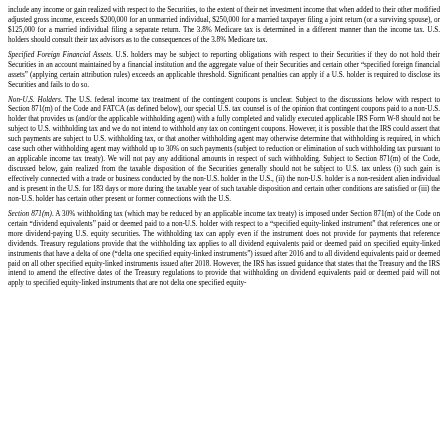include any income or gain realized with respect to the Securities, to the extent of their net investment income that when added to their other modified adjusted gross income, exceeds $200,000 for an unmarried individual, $250,000 for a married taxpayer filing a joint return (or a surviving spouse), or $125,000 for a married individual filing a separate return. The 3.8% Medicare tax is determined in a different manner than the income tax. U.S. holders should consult their tax advisors as to the consequences of the 3.8% Medicare tax.
Specified Foreign Financial Assets. U.S. holders may be subject to reporting obligations with respect to their Securities if they do not hold their Securities in an account maintained by a financial institution and the aggregate value of their Securities and certain other “specified foreign financial assets” (applying certain attribution rules) exceeds an applicable threshold. Significant penalties can apply if a U.S. holder is required to disclose its Securities and fails to do so.
Non-U.S. Holders. The U.S. federal income tax treatment of the contingent coupons is unclear. Subject to the discussions below with respect to Section 871(m) of the Code and FATCA (as defined below), our special U.S. tax counsel is of the opinion that contingent coupons paid to a non-U.S. holder that provides us (and/or the applicable withholding agent) with a fully completed and validly executed applicable IRS Form W-8 should not be subject to U.S. withholding tax and we do not intend to withhold any tax on contingent coupons. However, it is possible that the IRS could assert that such payments are subject to U.S. withholding tax, or that another withholding agent may otherwise determine that withholding is required, in which case such other withholding agent may withhold up to 30% on such payments (subject to reduction or elimination of such withholding tax pursuant to an applicable income tax treaty). We will not pay any additional amounts in respect of such withholding. Subject to Section 871(m) of the Code, discussed below, gain realized from the taxable disposition of the Securities generally should not be subject to U.S. tax unless (i) such gain is effectively connected with a trade or business conducted by the non-U.S. holder in the U.S., (ii) the non-U.S. holder is a non-resident alien individual and is present in the U.S. for 183 days or more during the taxable year of such taxable disposition and certain other conditions are satisfied or (iii) the non-U.S. holder has certain other present or former connections with the U.S.
Section 871(m). A 30% withholding tax (which may be reduced by an applicable income tax treaty) is imposed under Section 871(m) of the Code on certain “dividend equivalents” paid or deemed paid to a non-U.S. holder with respect to a “specified equity-linked instrument” that references one or more dividend-paying U.S. equity securities. The withholding tax can apply even if the instrument does not provide for payments that reference dividends. Treasury regulations provide that the withholding tax applies to all dividend equivalents paid or deemed paid on specified equity-linked instruments that have a delta of one (“delta one specified equity-linked instruments”) issued after 2016 and to all dividend equivalents paid or deemed paid on all other specified equity-linked instruments issued after 2018. However, the IRS has issued guidance that states that the Treasury and the IRS intend to amend the effective dates of the Treasury regulations to provide that withholding on dividend equivalents paid or deemed paid will not apply to specified equity-linked instruments that are not delta one specified equity-